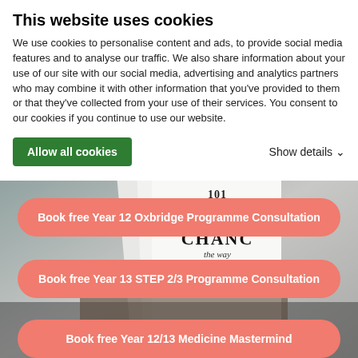This website uses cookies
We use cookies to personalise content and ads, to provide social media features and to analyse our traffic. We also share information about your use of our site with our social media, advertising and analytics partners who may combine it with other information that you’ve provided to them or that they’ve collected from your use of their services. You consent to our cookies if you continue to use our website.
Allow all cookies
Show details
[Figure (photo): Black and white photo of a person holding a book titled '101 Essays that will CHANGE the way...']
Book free Year 12 Oxbridge Programme Consultation
Book free Year 13 STEP 2/3 Programme Consultation
Book free Year 12/13 Medicine Mastermind